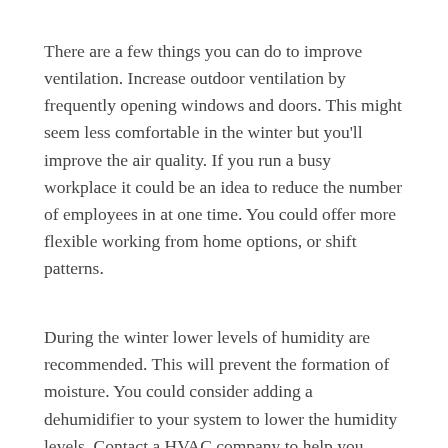There are a few things you can do to improve ventilation. Increase outdoor ventilation by frequently opening windows and doors. This might seem less comfortable in the winter but you'll improve the air quality. If you run a busy workplace it could be an idea to reduce the number of employees in at one time. You could offer more flexible working from home options, or shift patterns.
During the winter lower levels of humidity are recommended. This will prevent the formation of moisture. You could consider adding a dehumidifier to your system to lower the humidity levels. Contact a HVAC company to help you reduce the overall humidity. There could be a number of causes for unusually high humidity. There may be a leak or a problem with your